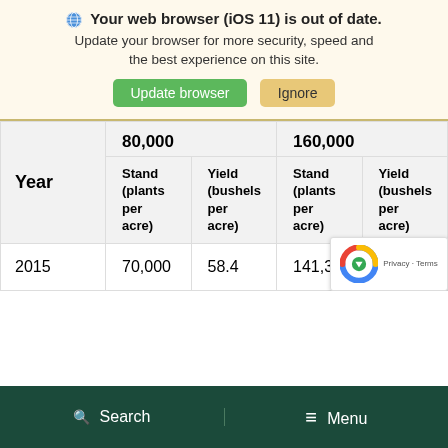Your web browser (iOS 11) is out of date. Update your browser for more security, speed and the best experience on this site.
| Year | 80,000 Stand (plants per acre) | 80,000 Yield (bushels per acre) | 160,000 Stand (plants per acre) | 160,000 Yield (bushels per acre) |
| --- | --- | --- | --- | --- |
| 2015 | 70,000 | 58.4 | 141,300 | 60 |
Search   Menu